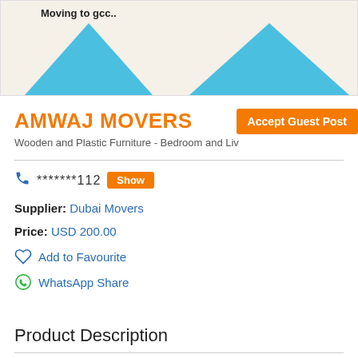[Figure (illustration): Banner graphic with text 'Moving to gcc..' and two blue trapezoid shapes on a cream/beige background]
AMWAJ MOVERS
Wooden and Plastic Furniture - Bedroom and Liv...
Accept Guest Post
*******112  Show
Supplier: Dubai Movers
Price: USD 200.00
Add to Favourite
WhatsApp Share
Product Description